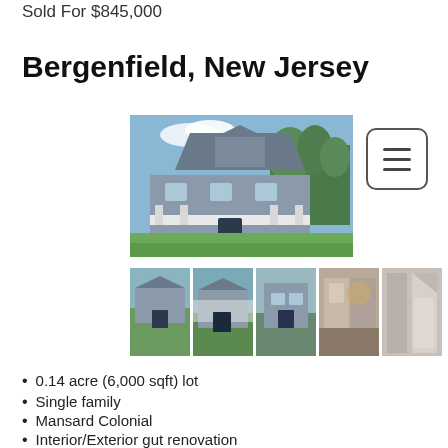Sold For $845,000
Bergenfield, New Jersey
[Figure (photo): Exterior photo of a renovated Mansard Colonial house with gray shingle siding, white trim porch, and green lawn]
[Figure (photo): Row of 5 thumbnail photos showing exterior and interior views of the property]
0.14 acre (6,000 sqft) lot
Single family
Mansard Colonial
Interior/Exterior gut renovation
1,765 sq ft above ground living area
+/- 1,900 sq ft total living space
3 bedrooms (1 en-suite) & 2 full